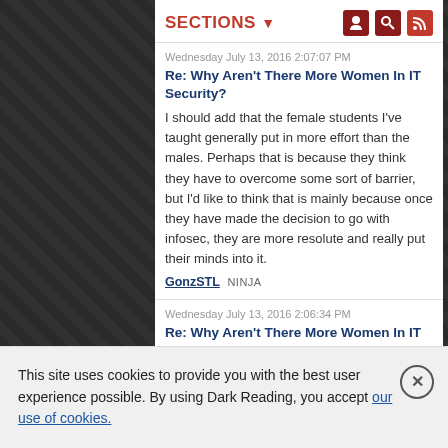SECTIONS
Wednesday July 13, 2016 2:07:07 PM
Re: Why Aren't There More Women In IT Security?
I should add that the female students I've taught generally put in more effort than the males. Perhaps that is because they think they have to overcome some sort of barrier, but I'd like to think that is mainly because once they have made the decision to go with infosec, they are more resolute and really put their minds into it.
GonzSTL NINJA
Wednesday July 13, 2016 2:06:34 PM
Re: Why Aren't There More Women In IT Security?
Just one more friendly reminder about the Black Hat USA women's luncheon & panel on 8/4
This site uses cookies to provide you with the best user experience possible. By using Dark Reading, you accept our use of cookies.